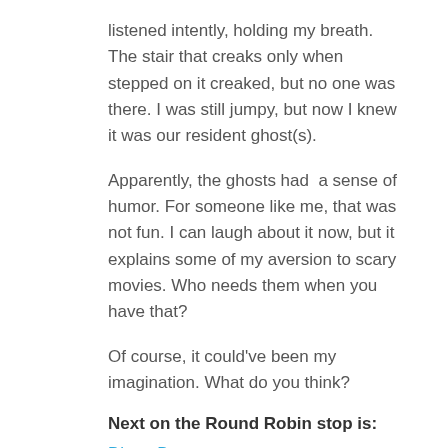listened intently, holding my breath. The stair that creaks only when stepped on it creaked, but no one was there. I was still jumpy, but now I knew it was our resident ghost(s).
Apparently, the ghosts had  a sense of humor. For someone like me, that was not fun. I can laugh about it now, but it explains some of my aversion to scary movies. Who needs them when you have that?
Of course, it could've been my imagination. What do you think?
Next on the Round Robin stop is:
Diane Bator
Share this:
[Figure (infographic): Two circular social media share buttons: Twitter (bird icon) and Facebook (f icon), both in blue.]